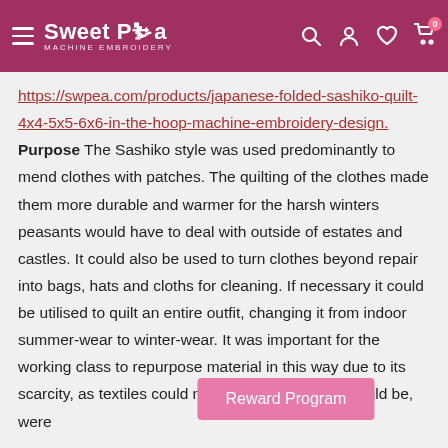Sweet Pea Machine Embroidery
https://swpea.com/products/japanese-folded-sashiko-quilt-4x4-5x5-6x6-in-the-hoop-machine-embroidery-design. Purpose The Sashiko style was used predominantly to mend clothes with patches. The quilting of the clothes made them more durable and warmer for the harsh winters peasants would have to deal with outside of estates and castles. It could also be used to turn clothes beyond repair into bags, hats and cloths for cleaning. If necessary it could be utilised to quilt an entire outfit, changing it from indoor summer-wear to winter-wear. It was important for the working class to repurpose material in this way due to its scarcity, as textiles could not be mass produced could be, were
Reward Program